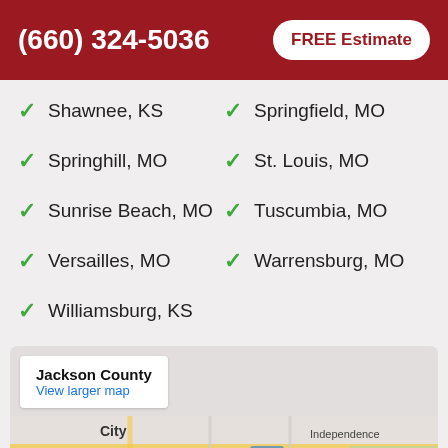(660) 324-5036  FREE Estimate
Shawnee, KS
Springfield, MO
Springhill, MO
St. Louis, MO
Sunrise Beach, MO
Tuscumbia, MO
Versailles, MO
Warrensburg, MO
Williamsburg, KS
[Figure (map): Google map showing Jackson County area with Independence, MO visible. Map includes roads and city labels.]
Jackson County
View larger map